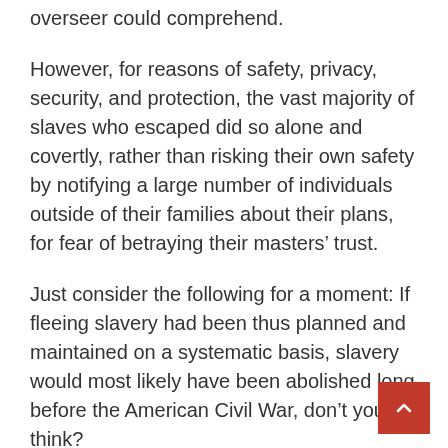overseer could comprehend.
However, for reasons of safety, privacy, security, and protection, the vast majority of slaves who escaped did so alone and covertly, rather than risking their own safety by notifying a large number of individuals outside of their families about their plans, for fear of betraying their masters’ trust.
Just consider the following for a moment: If fleeing slavery had been thus planned and maintained on a systematic basis, slavery would most likely have been abolished long before the American Civil War, don’t you think?
According to Blight, “Much of what we call